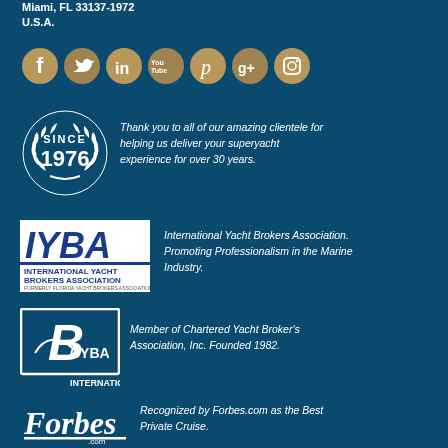Miami, FL 33137-1972
U.S.A.
[Figure (infographic): Row of social media icons: Facebook, Twitter, LinkedIn, YouTube, Pinterest, Google+, Instagram — all in tan/gold color on teal background]
[Figure (logo): Since 1976 badge with laurel wreath in white on teal background]
Thank you to all of our amazing clientele for helping us deliver your superyacht experience for over 30 years.
[Figure (logo): IYBA - International Yacht Brokers Association logo, blue and white]
International Yacht Brokers Association. Promoting Professionalism in the Marine Industry.
[Figure (logo): CYBA International logo with B monogram and sailboat, white on teal]
Member of Chartered Yacht Broker's Association, Inc. Founded 1982.
[Figure (logo): Forbes.com logo in white on teal background]
Recognized by Forbes.com as the Best Private Cruise.